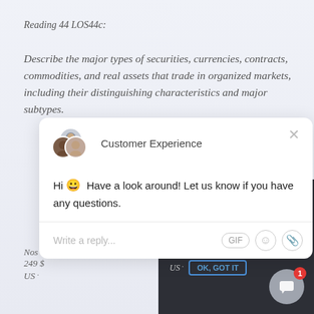Reading 44 LOS44c:
Describe the major types of securities, currencies, contracts, commodities, and real assets that trade in organized markets, including their distinguishing characteristics and major subtypes.
[Figure (screenshot): Customer Experience chat widget popup with avatar group, greeting message 'Hi 😀 Have a look around! Let us know if you have any questions.', write a reply input area with GIF, emoji, and attachment icons, and a close button.]
[Figure (screenshot): Dark overlay panel with partial text and 'OK, GOT IT' button, partially visible text about 'Nos offres CFA commencent à 249 $US', and a chat launcher bubble with notification badge of 1.]